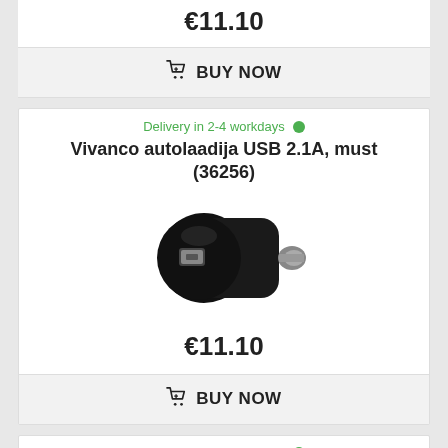€11.10
BUY NOW
Delivery in 2-4 workdays
Vivanco autolaadija USB 2.1A, must (36256)
[Figure (photo): Black Vivanco USB 2.1A car charger with single USB port and cigarette lighter plug]
€11.10
BUY NOW
Delivery in 2-4 workdays
Silicon Power autolaadija 2xUSB, must (CC102P)